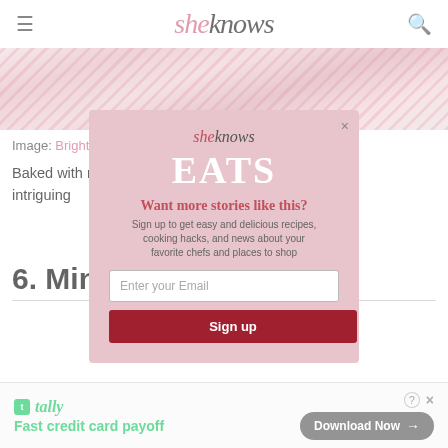sheknows
[Figure (photo): Red and white striped fabric/wrapping paper on a white background]
Image: Bright-Eyed Baker
Baked with rich ... cranberries, these intriguing ... sweet rolls are a delicious finish...
6. Mini Fr... pies
[Figure (screenshot): SheKnows EATS modal popup with email signup form. Headline: Want more stories like this? Subtext: Sign up to get easy and delicious recipes, cooking hacks, and news about your favorite chefs and places to shop. Email input field and Sign up button.]
[Figure (screenshot): Tally ad banner: Fast credit card payoff with Download Now button]